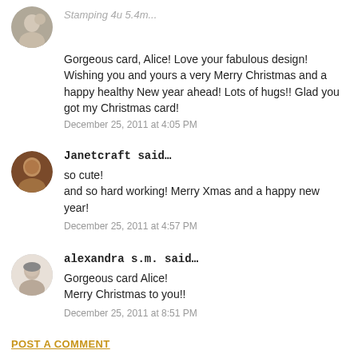Gorgeous card, Alice! Love your fabulous design! Wishing you and yours a very Merry Christmas and a happy healthy New year ahead! Lots of hugs!! Glad you got my Christmas card!
December 25, 2011 at 4:05 PM
Janetcraft said…
so cute!
and so hard working! Merry Xmas and a happy new year!
December 25, 2011 at 4:57 PM
alexandra s.m. said…
Gorgeous card Alice!
Merry Christmas to you!!
December 25, 2011 at 8:51 PM
POST A COMMENT